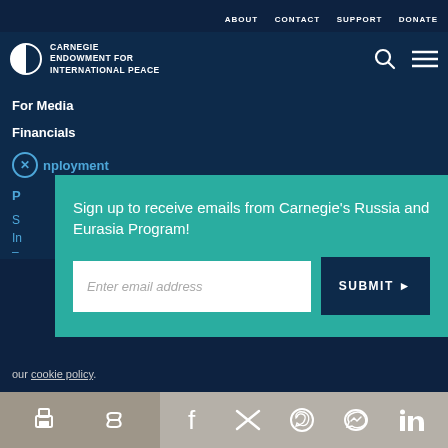ABOUT   CONTACT   SUPPORT   DONATE
[Figure (logo): Carnegie Endowment for International Peace logo — half-circle icon with CARNEGIE ENDOWMENT FOR INTERNATIONAL PEACE text]
For Media
Financials
Employment
P...
Sign up to receive emails from Carnegie's Russia and Eurasia Program!
Enter email address
SUBMIT ▶
our cookie policy.
Social sharing icons: print, link, facebook, twitter, whatsapp, messenger, linkedin